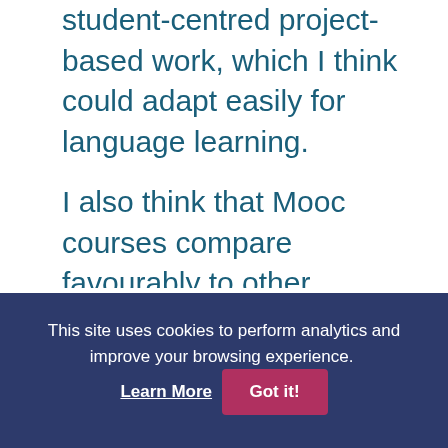student-centred project-based work, which I think could adapt easily for language learning.
I also think that Mooc courses compare favourably to other ,accredited, more expensive but with much more teacher input, courses already available online. I've met students on this type of course who put honing their language skills right up there with mastering the content of the course, whether it be literary theory, 19th-century history
This site uses cookies to perform analytics and improve your browsing experience. Learn More Got it!